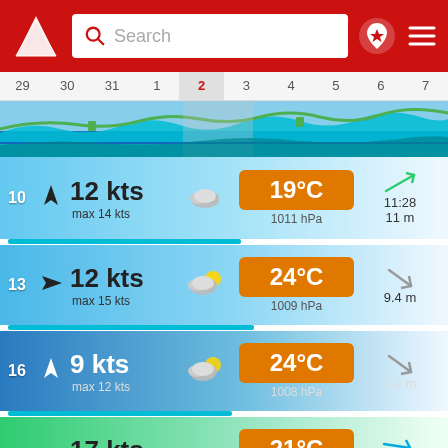[Figure (screenshot): Mobile weather/sailing app header with red background, logo, search bar, and navigation icons]
[Figure (infographic): Date selector row showing dates 29-7 with date 2 highlighted]
[Figure (infographic): Wind and weather chart strip showing colored wave/wind data]
10  12 kts  max 14 kts  19°C  1011 hPa  11:28  11 m
13  12 kts  max 15 kts  24°C  1009 hPa  9.4 m
16  9 kts  max 12 kts  24°C  1008 hPa  3.2 m
19  17 kts  max 24 kts  21°C  1008 hPa  17:52  1.7 m
22  12 kts  max 21 kts  19°C  1009 hPa  8.6 m